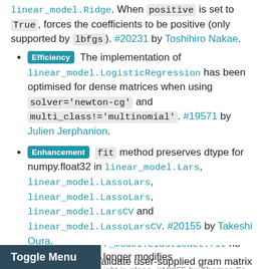linear_model.Ridge. When positive is set to True, forces the coefficients to be positive (only supported by lbfgs). #20231 by Toshihiro Nakae.
[Efficiency] The implementation of linear_model.LogisticRegression has been optimised for dense matrices when using solver='newton-cg' and multi_class!='multinomial'. #19571 by Julien Jerphanion.
[Enhancement] fit method preserves dtype for numpy.float32 in linear_model.Lars, linear_model.LassoLars, linear_model.LassoLars, linear_model.LarsCV and linear_model.LassoLarsCV. #20155 by Takeshi Oura.
[Enhancement] Validate user-supplied gram matrix passed to linear models via the precompute argument. #19004 by Adam Midvidy.
linear_model.ElasticNet.fit no longer modifies ... right in place. #19055 by Thomas Fa...
Toggle Menu